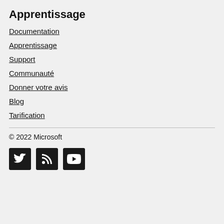Apprentissage
Documentation
Apprentissage
Support
Communauté
Donner votre avis
Blog
Tarification
© 2022 Microsoft
[Figure (other): Social media icons: Twitter, RSS feed, YouTube]